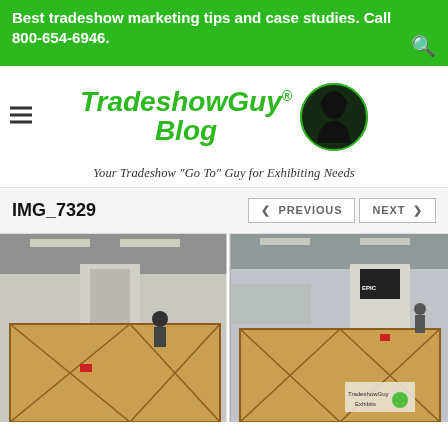Best tradeshow marketing tips and case studies. Call 800-654-6946.
[Figure (logo): TradeshowGuy Blog logo with globe icon and hamburger menu]
Your Tradeshow "Go To" Guy for Exhibiting Needs
IMG_7329
[Figure (photo): Tradeshow exhibition hall with large wooden crates/cases on the floor, including one labeled TradeshowGuy Exhibits, and booth setups visible in the background]